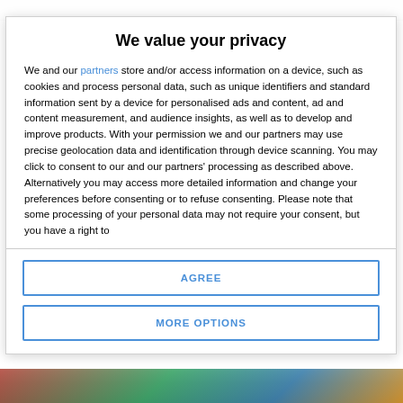We value your privacy
We and our partners store and/or access information on a device, such as cookies and process personal data, such as unique identifiers and standard information sent by a device for personalised ads and content, ad and content measurement, and audience insights, as well as to develop and improve products. With your permission we and our partners may use precise geolocation data and identification through device scanning. You may click to consent to our and our partners' processing as described above. Alternatively you may access more detailed information and change your preferences before consenting or to refuse consenting. Please note that some processing of your personal data may not require your consent, but you have a right to
AGREE
MORE OPTIONS
[Figure (photo): Partially visible background photograph at the bottom of the page]